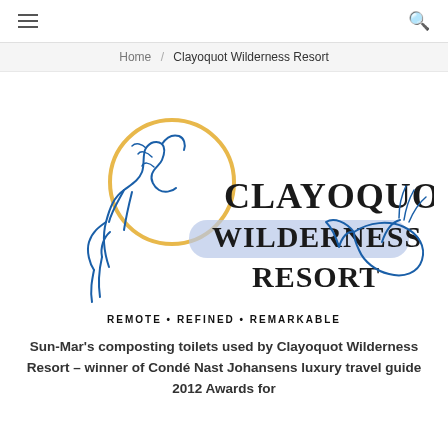≡  🔍
Home / Clayoquot Wilderness Resort
[Figure (logo): Clayoquot Wilderness Resort logo featuring a blue illustrated horse on the left, a yellow circle, a blue/lavender banner, a blue illustrated whale on the right, and the text 'CLAYOQUOT WILDERNESS RESORT' in serif small-caps style lettering]
REMOTE • REFINED • REMARKABLE
Sun-Mar's composting toilets used by Clayoquot Wilderness Resort – winner of Condé Nast Johansens luxury travel guide 2012 Awards for